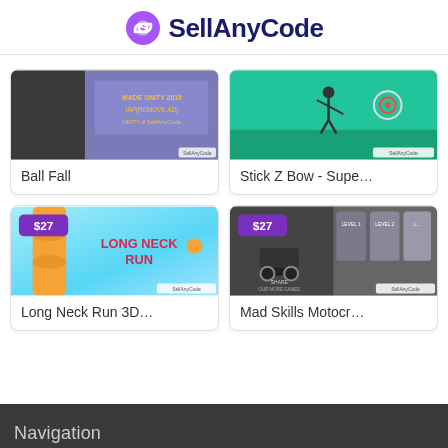SellAnyCode
[Figure (screenshot): Ball Fall game thumbnail - dark/grey platform game screenshot with Unity 2019, IAP(REMOVE AD) text]
Ball Fall
[Figure (screenshot): Stick Z Bow - Super... game thumbnail - teal background with stick figure archer]
Stick Z Bow - Supe…
[Figure (screenshot): Long Neck Run 3D game thumbnail with $27 price badge, orange neck character, colorful background]
Long Neck Run 3D…
[Figure (screenshot): Mad Skills Motocross game thumbnail with $27 price badge, motorcycle levels screenshot]
Mad Skills Motocr…
Navigation